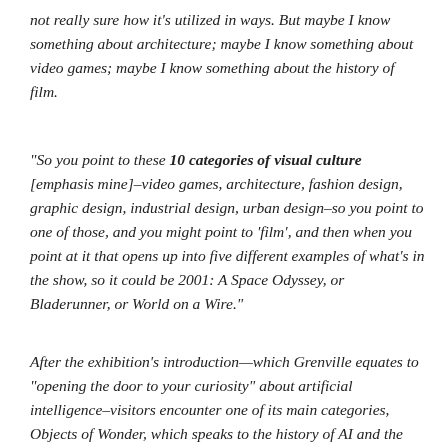not really sure how it's utilized in ways. But maybe I know something about architecture; maybe I know something about video games; maybe I know something about the history of film.
“So you point to these 10 categories of visual culture [emphasis mine]–video games, architecture, fashion design, graphic design, industrial design, urban design–so you point to one of those, and you might point to ‘film’, and then when you point at it that opens up into five different examples of what’s in the show, so it could be 2001: A Space Odyssey, or Bladerunner, or World on a Wire.”
After the exhibition’s introduction—which Grenville equates to “opening the door to your curiosity” about artificial intelligence–visitors encounter one of its main categories, Objects of Wonder, which speaks to the history of AI and the critical advances the technology